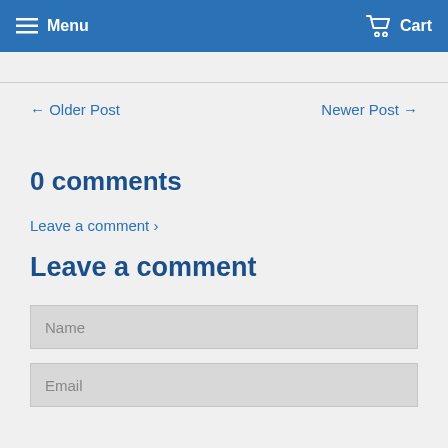Menu  Cart
← Older Post
Newer Post →
0 comments
Leave a comment ›
Leave a comment
Name
Email